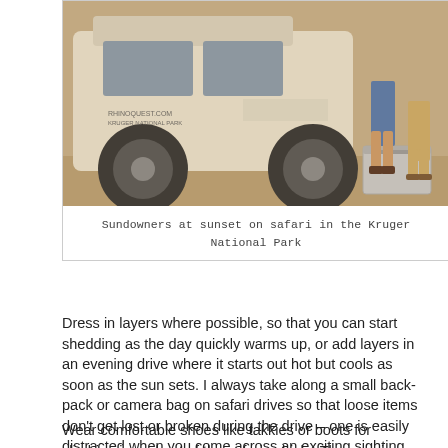[Figure (photo): Safari vehicle (Land Rover) with people standing beside it at sunset in the Kruger National Park. A metal cooler box/trunk is visible on the ground next to the vehicle.]
Sundowners at sunset on safari in the Kruger National Park
Dress in layers where possible, so that you can start shedding as the day quickly warms up, or add layers in an evening drive where it starts out hot but cools as soon as the sun sets. I always take along a small back-pack or camera bag on safari drives so that loose items don't get lost or broken during the drive – one is easily distracted when you come across an exciting sighting.
Wear comfortable shoes like takkies or boots for climbing in and out of the safari vehicle. Then again,